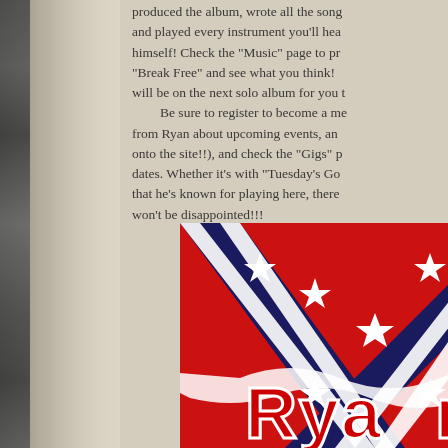produced the album, wrote all the songs and played every instrument you'll hear himself!  Check the "Music" page to preview "Break Free" and see what you think!  ...will be on the next solo album for you t...
Be sure to register to become a me... from Ryan about upcoming events, an... onto the site!!), and check the "Gigs" p... dates.  Whether it's with "Tuesday's Go... that he's known for playing here, there ... won't be disappointed!!!
[Figure (photo): A promotional image showing a Confederate battle flag with stars and diagonal cross, overlaid with stylized red and white text reading 'Ryan' on a dark red background, with what appears to be a guitar or weapon silhouette in the upper right.]